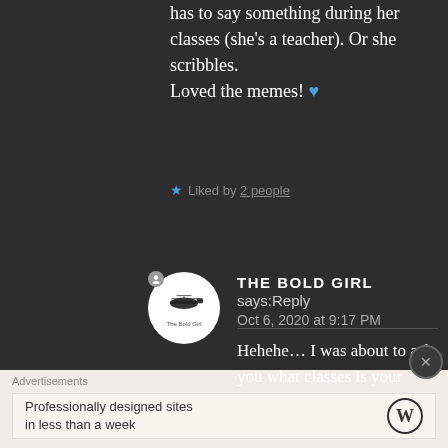has to say something during her classes (she's a teacher). Or she scribbles.
Loved the memes! 💙
★ Liked by 2 people
THE BOLD GIRL says: Reply
Oct 6, 2020 at 9:17 PM
Hehehe… I was about to ask you what classes is your Mom attending. Good you
Advertisements
Professionally designed sites in less than a week